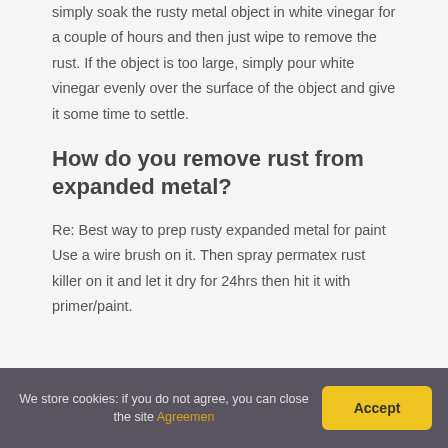simply soak the rusty metal object in white vinegar for a couple of hours and then just wipe to remove the rust. If the object is too large, simply pour white vinegar evenly over the surface of the object and give it some time to settle.
How do you remove rust from expanded metal?
Re: Best way to prep rusty expanded metal for paint Use a wire brush on it. Then spray permatex rust killer on it and let it dry for 24hrs then hit it with primer/paint.
We store cookies: if you do not agree, you can close the site Agreemen